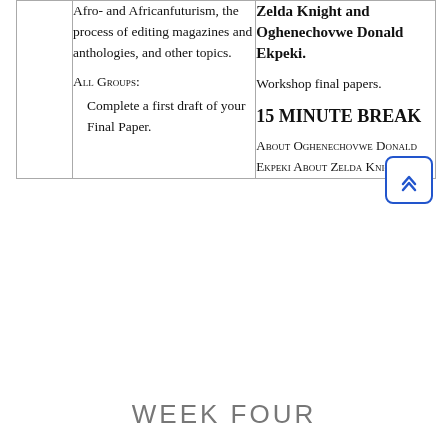|  | Left Column | Right Column |
| --- | --- | --- |
|  | Afro- and Africanfuturism, the process of editing magazines and anthologies, and other topics.

All Groups:

Complete a first draft of your Final Paper. | Zelda Knight and Oghenechovwe Donald Ekpeki.

Workshop final papers.

15 MINUTE BREAK

About Oghenechovwe Donald Ekpeki
About Zelda Knight |
WEEK FOUR